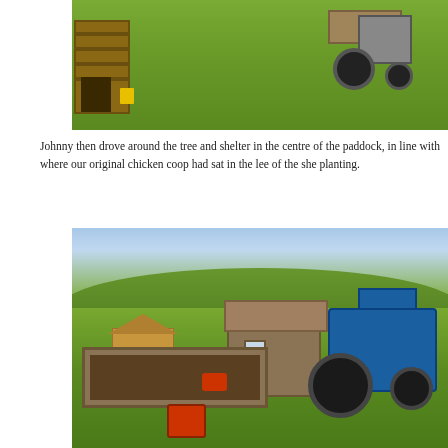[Figure (photo): Outdoor farm scene showing a wooden crate/shelter structure on the left with a yellow bucket, and a tractor on the right, set on bright green grass.]
Johnny then drove around the tree and shelter in the centre of the paddock, in line with where our original chicken coop had sat in the lee of the she planting.
[Figure (photo): Farm garden scene with a blue tractor on the right, a wooden shed in the center, a chicken coop with run on the left, raised garden bed frames on the grass, a red wheelbarrow, and a chainsaw in the foreground. Hills and trees visible in the background.]